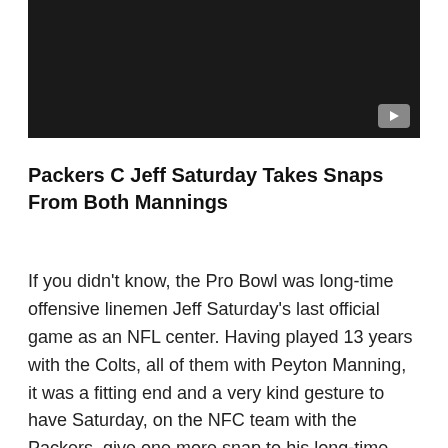[Figure (screenshot): Dark/black video thumbnail with a YouTube-style play button in the bottom-right corner]
Packers C Jeff Saturday Takes Snaps From Both Mannings
If you didn't know, the Pro Bowl was long-time offensive linemen Jeff Saturday's last official game as an NFL center. Having played 13 years with the Colts, all of them with Peyton Manning, it was a fitting end and a very kind gesture to have Saturday, on the NFC team with the Packers, give one more snap to his long-time Colts teammate. Many believed Saturday didn't even deserve to be in the Pro Bowl to begin with. But when you see something like this, it reminds you of just how special bonds are between players in the NFL.